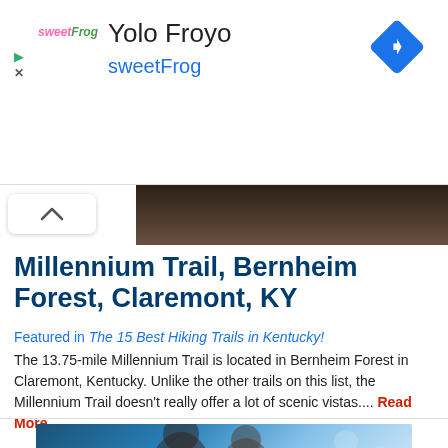[Figure (screenshot): Ad banner for sweetFrog Yolo Froyo with logo, navigation icon diamond shape]
[Figure (photo): Partial dark forest trail hero image strip at top of article]
Millennium Trail, Bernheim Forest, Claremont, KY
Featured in The 15 Best Hiking Trails in Kentucky!
The 13.75-mile Millennium Trail is located in Bernheim Forest in Claremont, Kentucky. Unlike the other trails on this list, the Millennium Trail doesn't really offer a lot of scenic vistas.... Read More
[Figure (photo): Bottom photo showing two people, blue bokeh background]